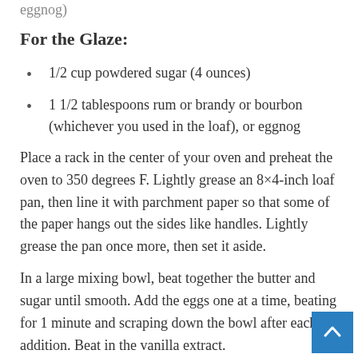eggnog)
For the Glaze:
1/2 cup powdered sugar (4 ounces)
1 1/2 tablespoons rum or brandy or bourbon (whichever you used in the loaf), or eggnog
Place a rack in the center of your oven and preheat the oven to 350 degrees F. Lightly grease an 8×4-inch loaf pan, then line it with parchment paper so that some of the paper hangs out the sides like handles. Lightly grease the pan once more, then set it aside.
In a large mixing bowl, beat together the butter and sugar until smooth. Add the eggs one at a time, beating for 1 minute and scraping down the bowl after each addition. Beat in the vanilla extract.